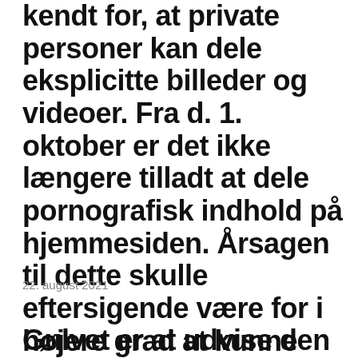kendt for, at private personer kan dele eksplicitte billeder og videoer. Fra d. 1. oktober er det ikke længere tilladt at dele pornografisk indhold på hjemmesiden. Årsagen til dette skulle eftersigende være for i højere grad at kunne tiltrække investorer.
22. august 2021
Gulvet er at udvise den mindste